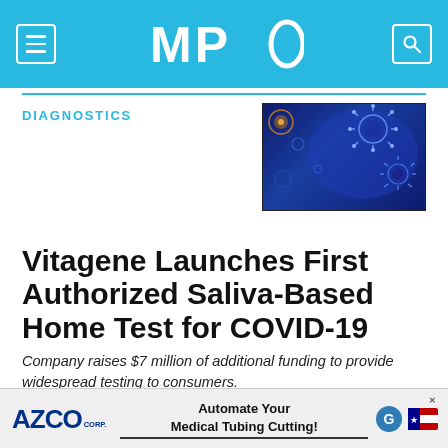MPO
DIAGNOSTICS
[Figure (illustration): Dark blue artistic illustration of coronavirus particles and DNA strands on a deep blue background]
Vitagene Launches First Authorized Saliva-Based Home Test for COVID-19
Company raises $7 million of additional funding to provide widespread testing to consumers.
Business Wire  •  05.11.20
[Figure (logo): AZCO CORP. advertisement banner: Automate Your Medical Tubing Cutting!]